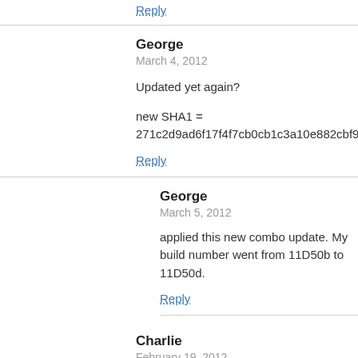Reply
George
March 4, 2012
Updated yet again?
new SHA1 = 271c2d9ad6f17f4f7cb0cb1c3a10e882cbf9c023
Reply
George
March 5, 2012
applied this new combo update. My build number went from 11D50b to 11D50d.
Reply
Charlie
February 19, 2012
Hi there Mac OSX users the update is only specifically to Mac's that came with Lion from factory. Yes, it does